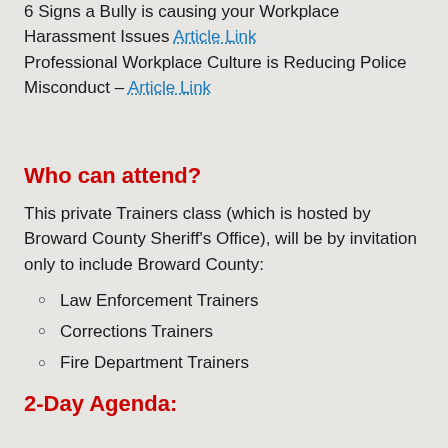6 Signs a Bully is causing your Workplace Harassment Issues Article Link
Professional Workplace Culture is Reducing Police Misconduct – Article Link
Who can attend?
This private Trainers class (which is hosted by Broward County Sheriff's Office), will be by invitation only to include Broward County:
Law Enforcement Trainers
Corrections Trainers
Fire Department Trainers
2-Day Agenda: